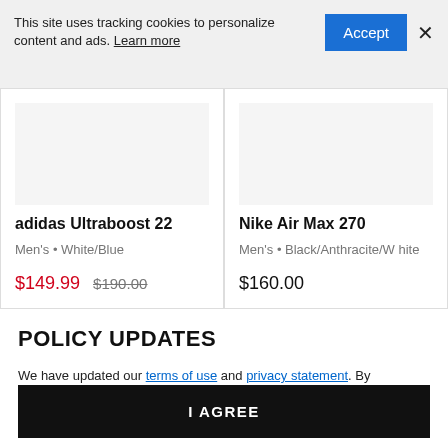This site uses tracking cookies to personalize content and ads. Learn more
adidas Ultraboost 22
Men's • White/Blue
$149.99  $190.00
Nike Air Max 270
Men's • Black/Anthracite/White
$160.00
POLICY UPDATES
We have updated our terms of use and privacy statement. By continuing to use this site, you agree to these policies.
I AGREE